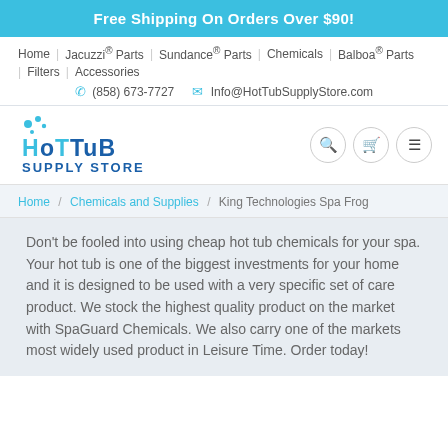Free Shipping On Orders Over $90!
Home | Jacuzzi® Parts | Sundance® Parts | Chemicals | Balboa® Parts | Filters | Accessories
(858) 673-7727   Info@HotTubSupplyStore.com
[Figure (logo): Hot Tub Supply Store logo with bubbles icon, search, cart, and menu icon buttons]
Home / Chemicals and Supplies / King Technologies Spa Frog
Don't be fooled into using cheap hot tub chemicals for your spa. Your hot tub is one of the biggest investments for your home and it is designed to be used with a very specific set of care product. We stock the highest quality product on the market with SpaGuard Chemicals.  We also carry one of the markets most widely used product in Leisure Time.  Order today!